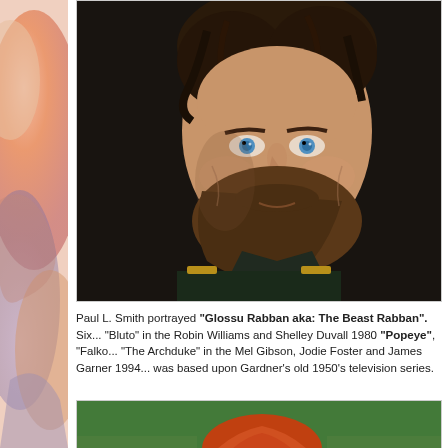[Figure (photo): Close-up photo of a bearded man with curly dark hair and blue eyes, wearing a dark military-style costume with gold trim. The background is dark and moody.]
Paul L. Smith portrayed "Glossu Rabban aka: The Beast Rabban". Six... "Bluto" in the Robin Williams and Shelley Duvall 1980 "Popeye", "Falko... "The Archduke" in the Mel Gibson, Jodie Foster and James Garner 1994... was based upon Gardner's old 1950's television series.
[Figure (photo): Partial photo showing a person with red/auburn hair against a green background, cropped at the bottom of the page.]